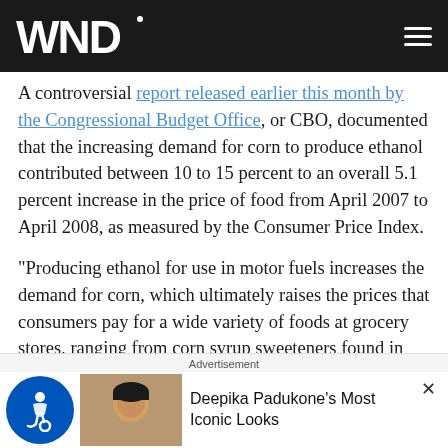WND
A controversial report released earlier this month by the Congressional Budget Office, or CBO, documented that the increasing demand for corn to produce ethanol contributed between 10 to 15 percent to an overall 5.1 percent increase in the price of food from April 2007 to April 2008, as measured by the Consumer Price Index.
"Producing ethanol for use in motor fuels increases the demand for corn, which ultimately raises the prices that consumers pay for a wide variety of foods at grocery stores, ranging from corn syrup sweeteners found in soft drinks to meat, dairy and poultry products," the CBO concluded.
Advertisement
Deepika Padukone's Most Iconic Looks